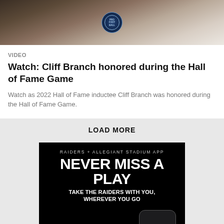[Figure (photo): Cropped sports image with NFL Hall of Fame logo/shield, showing players or ceremony in a stadium setting]
VIDEO
Watch: Cliff Branch honored during the Hall of Fame Game
Watch as 2022 Hall of Fame inductee Cliff Branch was honored during the Hall of Fame Game.
LOAD MORE
[Figure (infographic): Raiders + Allegiant Stadium App advertisement. Black background with text: NEVER MISS A PLAY, TAKE THE RAIDERS WITH YOU, WHEREVER YOU GO. Includes DOWNLOAD button, App Store and Google Play badges, and a mock phone showing LAS VEGAS RAIDERS text.]